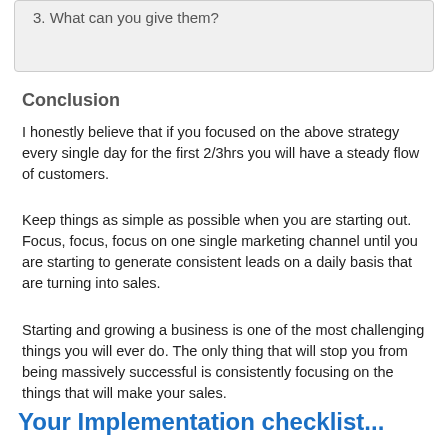3. What can you give them?
Conclusion
I honestly believe that if you focused on the above strategy every single day for the first 2/3hrs you will have a steady flow of customers.
Keep things as simple as possible when you are starting out. Focus, focus, focus on one single marketing channel until you are starting to generate consistent leads on a daily basis that are turning into sales.
Starting and growing a business is one of the most challenging things you will ever do. The only thing that will stop you from being massively successful is consistently focusing on the things that will make your sales.
Your Implementation checklist...